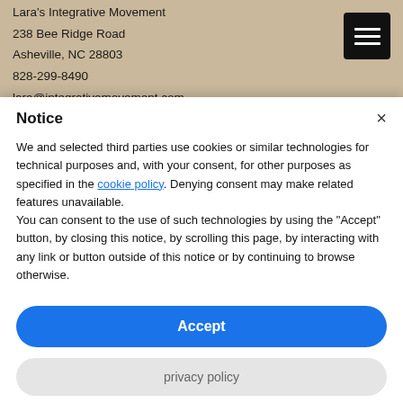Lara's Integrative Movement
238 Bee Ridge Road
Asheville, NC 28803
828-299-8490
lara@integrativemovement.com
[Figure (other): Black hamburger menu icon button with three white horizontal lines on dark background]
Notice
We and selected third parties use cookies or similar technologies for technical purposes and, with your consent, for other purposes as specified in the cookie policy. Denying consent may make related features unavailable.
You can consent to the use of such technologies by using the "Accept" button, by closing this notice, by scrolling this page, by interacting with any link or button outside of this notice or by continuing to browse otherwise.
Accept
privacy policy